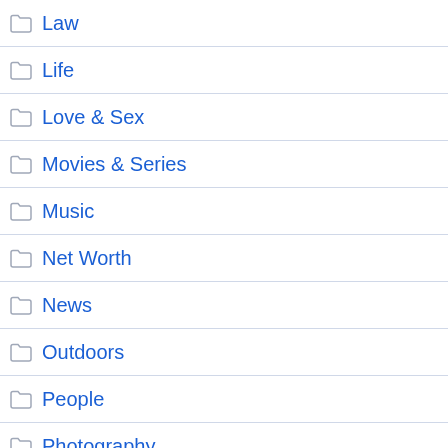Law
Life
Love & Sex
Movies & Series
Music
Net Worth
News
Outdoors
People
Photography
Real Estate
Sports
Tips
Travel